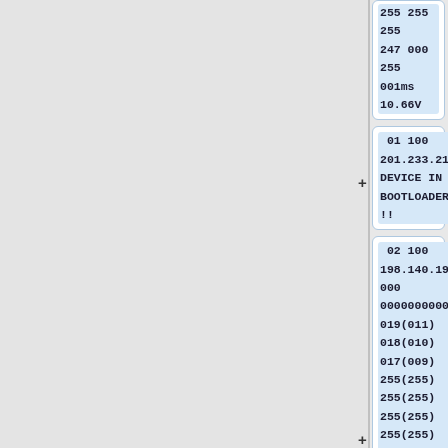[Figure (screenshot): Left gray panel (empty), vertical divider, right panel showing device data cards. Top card (partial) shows '255  255  255 / 247  000  255 / 001ms 10.66V'. Middle card shows '01 100 / 201.233.217 / DEVICE IN BOOTLOADER!!!'. Bottom card (partial) shows '02 100 / 198.140.192 / 000 / 000000000000 / 019(011) / 018(010) / 017(009) / 255(255) / 255(255) / 255(255) / 255(255) / 255(255)  000 / F06.00.25  255 / 069  255  255'.]